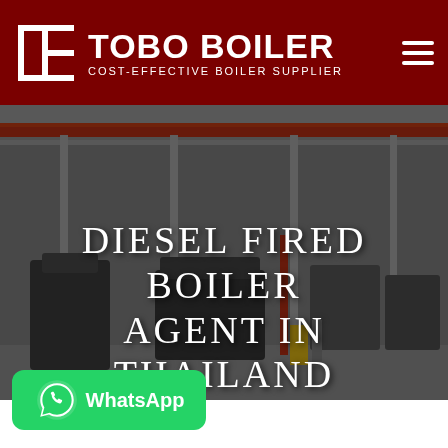TOBO BOILER — COST-EFFECTIVE BOILER SUPPLIER
[Figure (photo): Industrial boiler factory interior with large equipment, cranes, and manufacturing floor in a warehouse setting with dark overlay]
DIESEL FIRED BOILER AGENT IN THAILAND
[Figure (logo): WhatsApp button — green rounded rectangle with WhatsApp phone icon and text 'WhatsApp']
Hot News